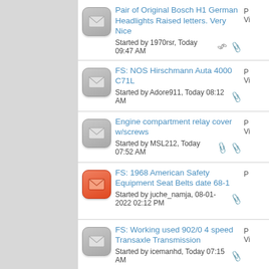Pair of Original Bosch H1 German Headlights Raised letters. Very Nice
Started by 1970rsr, Today 09:47 AM
FS: NOS Hirschmann Auta 4000 C71L
Started by Adore911, Today 08:12 AM
Engine compartment relay cover w/screws
Started by MSL212, Today 07:52 AM
FS: 1968 American Safety Equipment Seat Belts date 68-1
Started by juche_namja, 08-01-2022 02:12 PM
FS: Working used 902/0 4 speed Transaxle Transmission
Started by icemanhd, Today 07:15 AM
FS: Set NOS Cibie 45 Yellow Driving Lights + Set NOS Covers
Started by enoz05, Yesterday 02:14 AM
NOS BOSCH ballast resistor for swb 911ish
Started by moito, 07-29-2022 03:17 AM